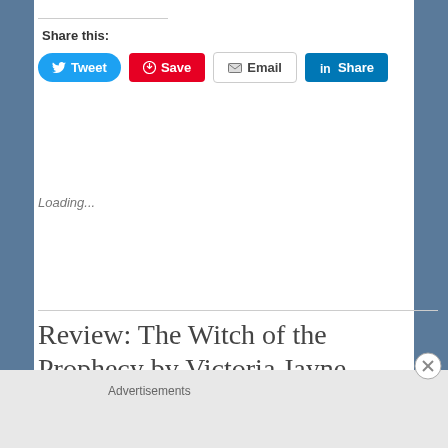Share this:
[Figure (screenshot): Social sharing buttons: Tweet (Twitter, blue pill), Save (Pinterest, red), Email (grey outline), Share (LinkedIn, blue)]
Loading...
Review: The Witch of the Prophecy by Victoria Jayne
Advertisements